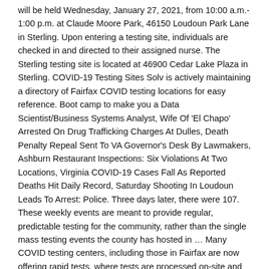will be held Wednesday, January 27, 2021, from 10:00 a.m.- 1:00 p.m. at Claude Moore Park, 46150 Loudoun Park Lane in Sterling. Upon entering a testing site, individuals are checked in and directed to their assigned nurse. The Sterling testing site is located at 46900 Cedar Lake Plaza in Sterling. COVID-19 Testing Sites Solv is actively maintaining a directory of Fairfax COVID testing locations for easy reference. Boot camp to make you a Data Scientist/Business Systems Analyst, Wife Of 'El Chapo' Arrested On Drug Trafficking Charges At Dulles, Death Penalty Repeal Sent To VA Governor's Desk By Lawmakers, Ashburn Restaurant Inspections: Six Violations At Two Locations, Virginia COVID-19 Cases Fall As Reported Deaths Hit Daily Record, Saturday Shooting In Loudoun Leads To Arrest: Police. Three days later, there were 107. These weekly events are meant to provide regular, predictable testing for the community, rather than the single mass testing events the county has hosted in … Many COVID testing centers, including those in Fairfax are now offering rapid tests, where tests are processed on-site and results are available to the patient in under one hour. On January 9, Angeli was arrested and... brought up on U.S. federal charges of "knowingly entering or remaining in any restricted building or grounds without lawful authority, and with violent entry and disorderly conduct on Capitol grounds". While decisions about who should be tested for COVID-19 infections are being made by state and local health departments or healthcare providers, the CDC has developed national guidance to support these decisions. Antibody tests for COVID-19 are available through healthcare providers and laboratories, but may be limited and not available from every provider or in every area.